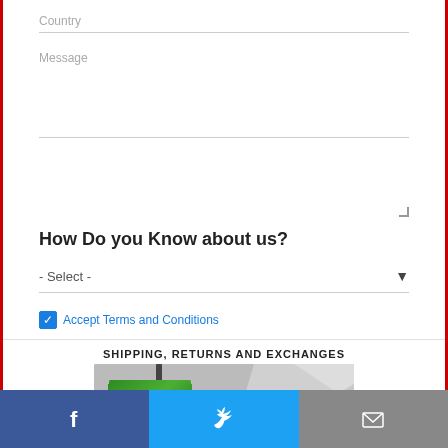Country
Message
How Do you Know about us?
- Select -
Accept Terms and Conditions
SHIPPING, RETURNS AND EXCHANGES
[Figure (photo): Green GLOBAL sign/banner on grey background]
Facebook | Twitter | Email social share bar